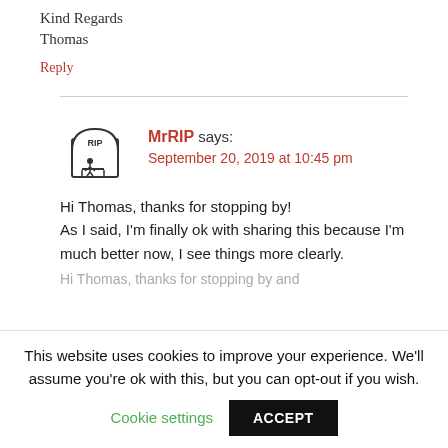Kind Regards
Thomas
Reply
[Figure (illustration): Tombstone/RIP avatar icon for commenter MrRIP]
MrRIP says:
September 20, 2019 at 10:45 pm
Hi Thomas, thanks for stopping by! As I said, I'm finally ok with sharing this because I'm much better now, I see things more clearly.
This website uses cookies to improve your experience. We'll assume you're ok with this, but you can opt-out if you wish.
Cookie settings   ACCEPT